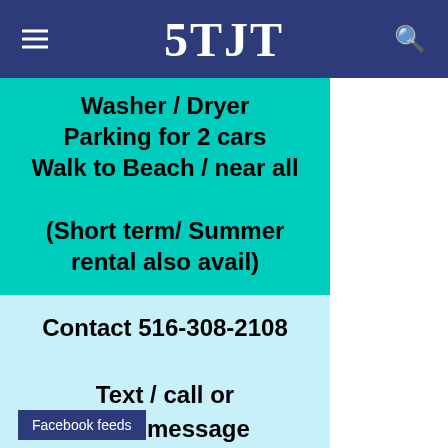5TJT
Washer / Dryer
Parking for 2 cars
Walk to Beach / near all

(Short term/ Summer rental also avail)
Contact 516-308-2108

Text / call or leave message
Facebook feeds